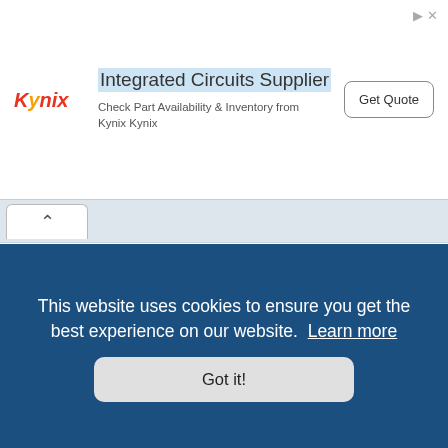[Figure (other): Kynix advertisement banner: Kynix logo on left, 'Integrated Circuits Supplier' headline, 'Check Part Availability & Inventory from Kynix Kynix' subtext, 'Get Quote' button on right, close icon top-right]
^ (tab/collapse button)
How do I edit or delete a post?
Unless you are a board administrator or moderator, you can only edit or delete your own posts. You can edit a post by clicking the edit button for the relevant post, sometimes for only a limited time after the post was made. If someone has already replied to the post, you will find a small piece of text output below the post when you return to the topic which lists the number of times you edited it along with the date and time. This will only appear if someone has made a reply; it will not appear if a moderator or administrator edited the post, though they may leave a note as to why they've edited the post at their own discretion. . . . replied. . . . ontrol . . . posting . . . all your posts by checking the appropriate radio button in the User Control Panel. If you
This website uses cookies to ensure you get the best experience on our website.  Learn more
Got it!